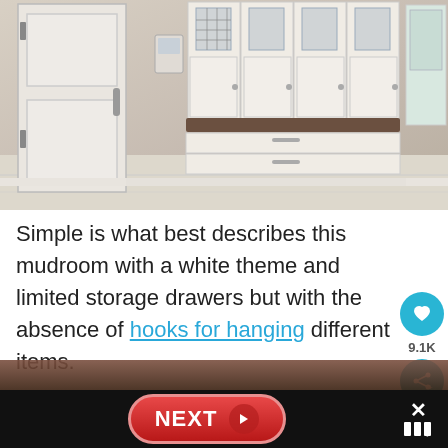[Figure (photo): Interior photo of a mudroom with white built-in cabinets featuring upper storage with glass-panel doors, a dark wood bench, lower drawers, and a white panel door with black hinges on the left. Light tile flooring and beige/tan walls.]
Simple is what best describes this mudroom with a white theme and limited storage drawers but with the absence of hooks for hanging different items.